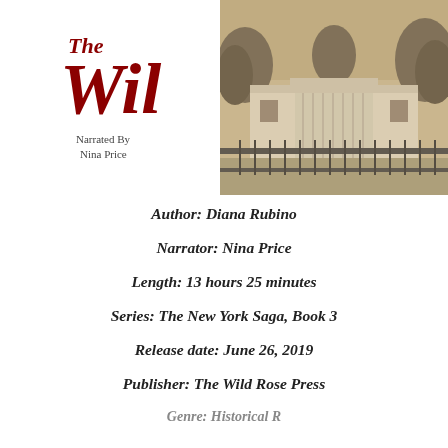[Figure (logo): Book logo: 'The Wild' in cursive red text, with 'Narrated By Nina Price' below in smaller text]
[Figure (photo): Sepia-toned photograph of the White House with iron fence in foreground and trees in background]
Author: Diana Rubino
Narrator: Nina Price
Length: 13 hours 25 minutes
Series: The New York Saga, Book 3
Release date: June 26, 2019
Publisher: The Wild Rose Press
Genre: Historical R...